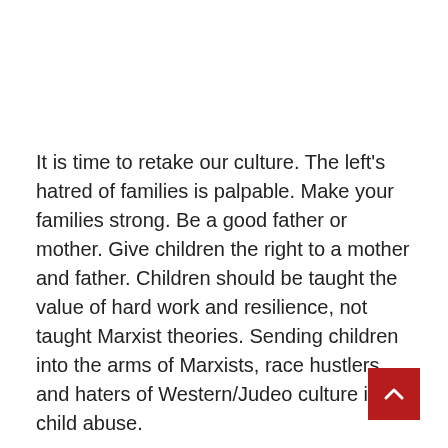It is time to retake our culture. The left's hatred of families is palpable. Make your families strong. Be a good father or mother. Give children the right to a mother and father. Children should be taught the value of hard work and resilience, not taught Marxist theories. Sending children into the arms of Marxists, race hustlers and haters of Western/Judeo culture is child abuse.
[Figure (other): Red square button with white upward-pointing chevron arrow (scroll-to-top button), positioned at bottom-right corner of the page.]